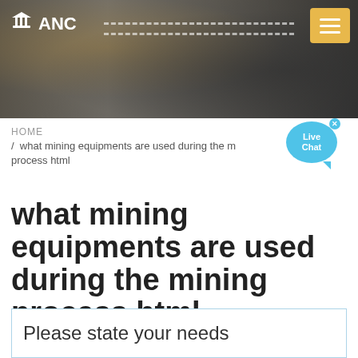[Figure (photo): Website header banner with industrial/factory background on the left and microphones on the right, dark overlay. ANC logo with building/institution icon on top left, dashed horizontal line across the middle, hamburger menu button (orange) top right.]
ANC
HOME / what mining equipments are used during the mining process html
what mining equipments are used during the mining process html
Please state your needs